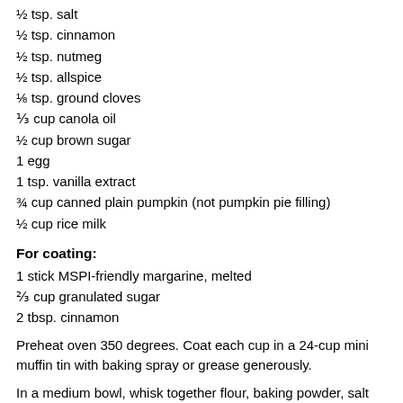½ tsp. salt
½ tsp. cinnamon
½ tsp. nutmeg
½ tsp. allspice
⅛ tsp. ground cloves
⅓ cup canola oil
½ cup brown sugar
1 egg
1 tsp. vanilla extract
¾ cup canned plain pumpkin (not pumpkin pie filling)
½ cup rice milk
For coating:
1 stick MSPI-friendly margarine, melted
⅔ cup granulated sugar
2 tbsp. cinnamon
Preheat oven 350 degrees. Coat each cup in a 24-cup mini muffin tin with baking spray or grease generously.
In a medium bowl, whisk together flour, baking powder, salt and spices (through cloves). In a separate, large bowl whisk